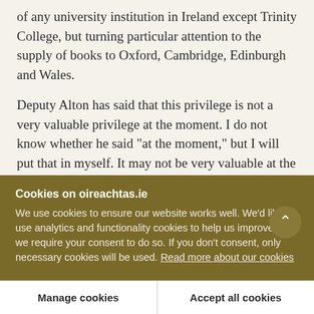of any university institution in Ireland except Trinity College, but turning particular attention to the supply of books to Oxford, Cambridge, Edinburgh and Wales.

Deputy Alton has said that this privilege is not a very valuable privilege at the moment. I do not know whether he said "at the moment," but I will put that in myself. It may not be very valuable at the present time, but there is no saying how valuable it may become in ten, twelve, or fifteen years. If it is valuable
Cookies on oireachtas.ie
We use cookies to ensure our website works well. We'd like to use analytics and functionality cookies to help us improve it but we require your consent to do so. If you don't consent, only necessary cookies will be used. Read more about our cookies
Manage cookies
Accept all cookies